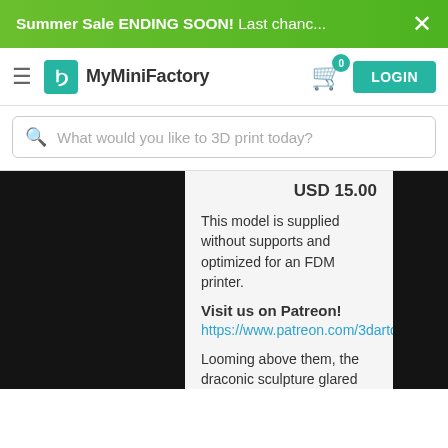Summer Sale ENDING SOON! Last chanc... ×
MyMiniFactory — LOGIN — cart 0
What would you like to 3D print today?
USD 15.00
This model is supplied without supports and optimized for an FDM printer.
Visit us on Patreon!
https://www.patreon.com/3dartdigital
Looming above them, the draconic sculpture glared down from the archway. They felt incredibly small, and no one wanted to voice the question: "What creature needed an entrance so